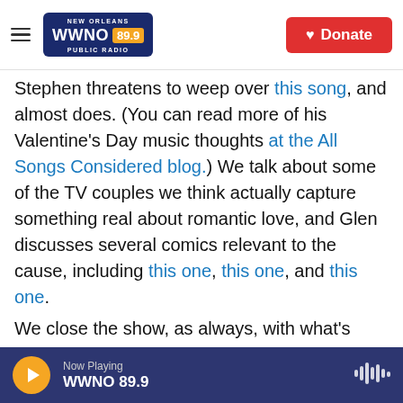NEW ORLEANS WWNO 89.9 PUBLIC RADIO | Donate
Stephen threatens to weep over this song, and almost does. (You can read more of his Valentine's Day music thoughts at the All Songs Considered blog.) We talk about some of the TV couples we think actually capture something real about romantic love, and Glen discusses several comics relevant to the cause, including this one, this one, and this one.

We close the show, as always, with what's making us happy this week. Stephen is happy about this long-awaited album. Trey is happy about this short film, as well as about the much-discussed House Of Cards. Glen is happy about a film-watching
Now Playing WWNO 89.9